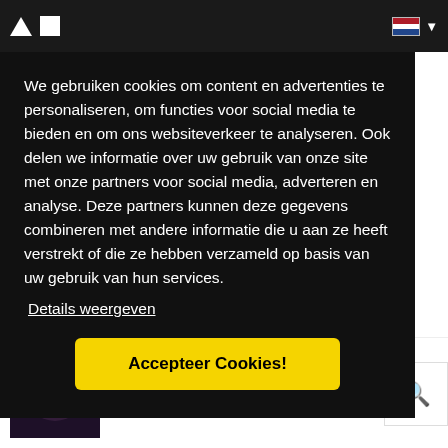Navigation bar with logo and Dutch flag language selector
We gebruiken cookies om content en advertenties te personaliseren, om functies voor social media te bieden en om ons websiteverkeer te analyseren. Ook delen we informatie over uw gebruik van onze site met onze partners voor social media, adverteren en analyse. Deze partners kunnen deze gegevens combineren met andere informatie die u aan ze heeft verstrekt of die ze hebben verzameld op basis van uw gebruik van hun services.
Details weergeven
Accepteer Cookies!
[Figure (photo): Album artwork thumbnail for I WANNA DO (EXTENDED MIX) by Chemical Surf]
I WANNA DO (EXTENDED MIX)
Chemical Surf